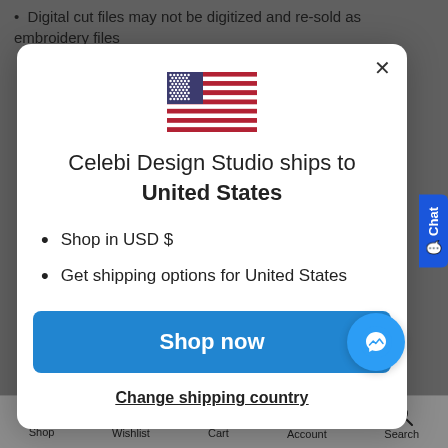Digital cut files may not be digitized and re-sold as embroidery files
[Figure (illustration): US flag emoji/icon centered in modal]
Celebi Design Studio ships to United States
Shop in USD $
Get shipping options for United States
Shop now
Change shipping country
Shop  Wishlist  Cart  Account  Search